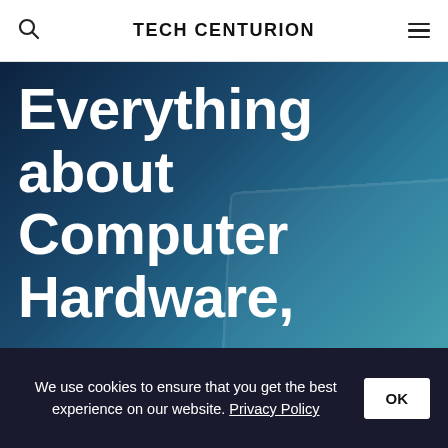TECH CENTURION
Everything about Computer Hardware,
We use cookies to ensure that you get the best experience on our website. Privacy Policy OK